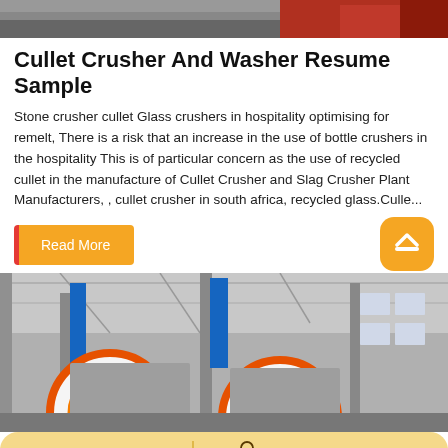[Figure (photo): Top partial image of industrial machinery with grey and red-orange tones]
Cullet Crusher And Washer Resume Sample
Stone crusher cullet Glass crushers in hospitality optimising for remelt, There is a risk that an increase in the use of bottle crushers in the hospitality This is of particular concern as the use of recycled cullet in the manufacture of Cullet Crusher and Slag Crusher Plant Manufacturers, , cullet crusher in south africa, recycled glass.Culle...
Read More
[Figure (photo): Industrial factory interior showing large orange and white crusher machinery with blue banners in background]
Leave Message
Free consultation